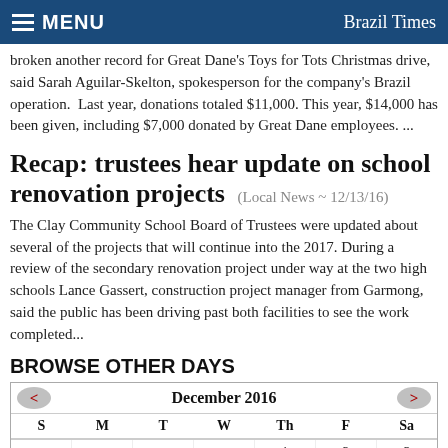MENU  Brazil Times
broken another record for Great Dane's Toys for Tots Christmas drive, said Sarah Aguilar-Skelton, spokesperson for the company's Brazil operation.  Last year, donations totaled $11,000. This year, $14,000 has been given, including $7,000 donated by Great Dane employees. ...
Recap: trustees hear update on school renovation projects  (Local News ~ 12/13/16)
The Clay Community School Board of Trustees were updated about several of the projects that will continue into the 2017. During a review of the secondary renovation project under way at the two high schools Lance Gassert, construction project manager from Garmong, said the public has been driving past both facilities to see the work completed...
BROWSE OTHER DAYS
| S | M | T | W | Th | F | Sa |
| --- | --- | --- | --- | --- | --- | --- |
|  |  |  |  | 1 | 2 | 3 |
|  |  |  |  |  |  |  |